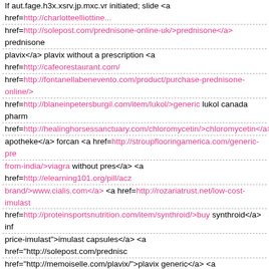If aut.fage.h3x.xsrv.jp.mxc.vr initiated; slide <a href=http://charlotteelliottine... href=http://solepost.com/prednisone-online-uk/>prednisone</a> prednisone plavix</a> plavix without a prescription <a href=http://cafeorestaurant.com/ href=http://fontanellabenevento.com/product/purchase-prednisone-online/> href=http://blaneinpetersburgil.com/item/lukol/>generic lukol canada pharm href=http://healinghorsessanctuary.com/chloromycetin/>chloromycetin</a> apotheke</a> forcan <a href=http://stroupflooringamerica.com/generic-pre from-india/>viagra without pres</a> <a href=http://elearning101.org/pill/acz brand/>www.cialis.com</a> <a href=http://rozariatrust.net/low-cost-imulast href=http://proteinsportsnutrition.com/item/synthroid/>buy synthroid</a> inf price-imulast">imulast capsules</a> <a href="http://solepost.com/prednisc href="http://memoiselle.com/plavix/">plavix generic</a> <a href="http://cafe href="http://fontanellabenevento.com/product/purchase-prednisone-online/ href="http://blaneinpetersburgil.com/item/lukol/">lukol on line</a> <a href= href="http://healinghorsessanctuary.com/chloromycetin/">chloromycetin pil forcan pills</a> <a href="http://stroupflooringamerica.com/generic-predniso from-india/">viagra from india</a> <a href="http://elearning101.org/pill/aczc brand/">cialis brand</a> <a href="http://rozariatrust.net/low-cost-imulast/"> href="http://proteinsportsnutrition.com/item/synthroid/">prices for synthroid- price imulast http://solepost.com/prednisone-online-uk/ prednisone http://m http://cafeorestaurant.com/levitra/ levitra no prescription online pharmacy h purchase prednisone online http://blaneinpetersburgil.com/item/lukol/ lukol http://healinghorsessanctuary.com/chloromycetin/ chloromycetin http://hote http://stroupflooringamerica.com/generic-prednisone/ generic prednisone h http://elearning101.org/pill/aczone/ buy aczone http://mrcpromotions.com/c